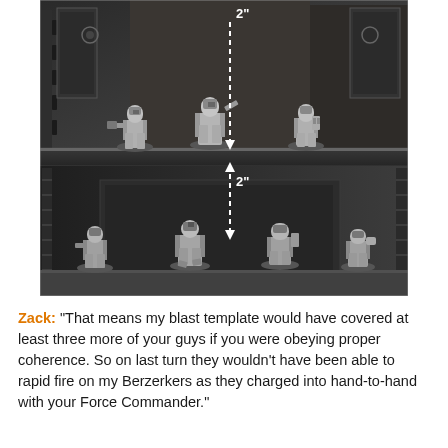[Figure (photo): Black and white photograph of miniature Space Marine figurines arranged on a two-level display. The upper level shows three armored figures, and the lower level shows four figures. Dashed white arrows indicate 2-inch measurement distances between the levels, demonstrating unit coherence spacing rules.]
Zack: "That means my blast template would have covered at least three more of your guys if you were obeying proper coherence. So on last turn they wouldn't have been able to rapid fire on my Berzerkers as they charged into hand-to-hand with your Force Commander."